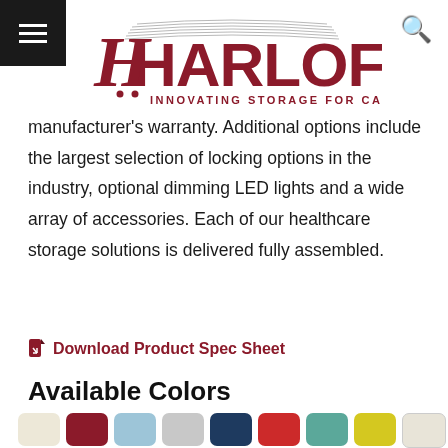Harloff - Innovating Storage For Care
manufacturer's warranty. Additional options include the largest selection of locking options in the industry, optional dimming LED lights and a wide array of accessories. Each of our healthcare storage solutions is delivered fully assembled.
Download Product Spec Sheet
Available Colors
[Figure (other): Row of color swatches showing available colors: cream/ivory, dark red/maroon, light blue, light gray, navy blue, red, teal, yellow, off-white/cream, and a partial second row]